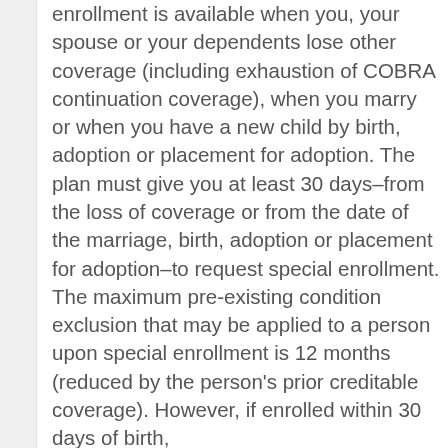enrollment is available when you, your spouse or your dependents lose other coverage (including exhaustion of COBRA continuation coverage), when you marry or when you have a new child by birth, adoption or placement for adoption. The plan must give you at least 30 days–from the loss of coverage or from the date of the marriage, birth, adoption or placement for adoption–to request special enrollment. The maximum pre-existing condition exclusion that may be applied to a person upon special enrollment is 12 months (reduced by the person's prior creditable coverage). However, if enrolled within 30 days of birth,